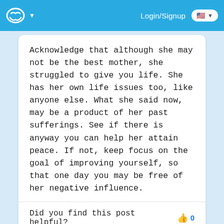Login/Signup
Acknowledge that although she may not be the best mother, she struggled to give you life. She has her own life issues too, like anyone else. What she said now, may be a product of her past sufferings. See if there is anyway you can help her attain peace. If not, keep focus on the goal of improving yourself, so that one day you may be free of her negative influence.
Did you find this post helpful? 👍 0
Anonymous
January 18th, 2018 7:13pm